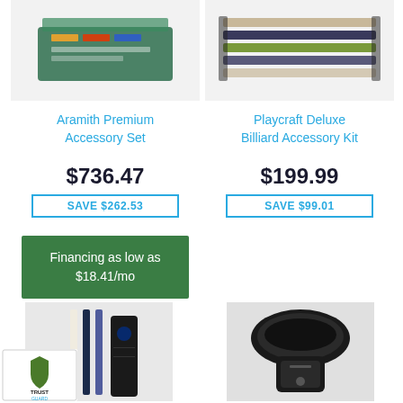[Figure (photo): Aramith Premium Accessory Set product image - billiard accessory kit in green box]
[Figure (photo): Playcraft Deluxe Billiard Accessory Kit product image - multiple billiard cues laid out]
Aramith Premium Accessory Set
Playcraft Deluxe Billiard Accessory Kit
$736.47
$199.99
SAVE $262.53
SAVE $99.01
Financing as low as $18.41/mo
[Figure (photo): Pool/billiard cue sticks with carrying case - NFL branded]
[Figure (photo): Black leather billiard cue holder/mount]
[Figure (logo): Trust Guard Security Scanned logo]